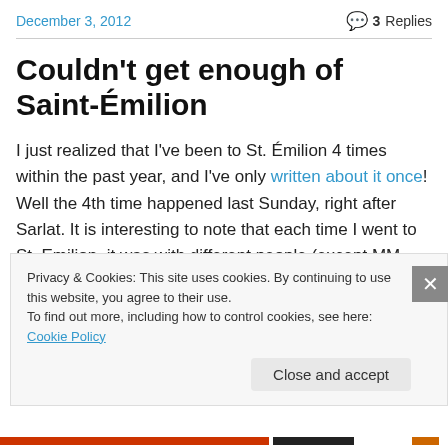December 3, 2012   💬 3 Replies
Couldn't get enough of Saint-Émilion
I just realized that I've been to St. Émilion 4 times within the past year, and I've only written about it once! Well the 4th time happened last Sunday, right after Sarlat. It is interesting to note that each time I went to St. Emilion, it was with different people (except MM, who was there the
Privacy & Cookies: This site uses cookies. By continuing to use this website, you agree to their use.
To find out more, including how to control cookies, see here: Cookie Policy